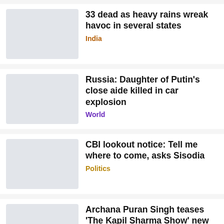33 dead as heavy rains wreak havoc in several states
India
Russia: Daughter of Putin's close aide killed in car explosion
World
CBI lookout notice: Tell me where to come, asks Sisodia
Politics
Archana Puran Singh teases 'The Kapil Sharma Show' new season
Entertainment
Former Meta COO Sheryl Sandberg marries Tom Bernthal in Wyoming